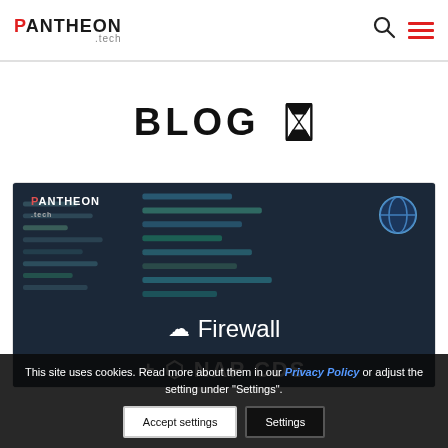PANTHEON.tech — navigation header with search and menu icons
BLOG
[Figure (screenshot): Blog post thumbnail image showing Pantheon.tech logo, code editor background with dark teal/blue syntax highlighting, text 'Firewall + NAP CDS' with cloud and logo icons in white on dark background]
APRIL 28, 2021
This site uses cookies. Read more about them in our Privacy Policy or adjust the setting under "Settings".
Accept settings  Settings